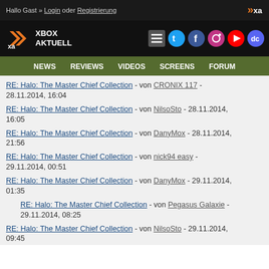Hallo Gast » Login oder Registrierung
[Figure (logo): Xbox Aktuell logo with XA icon and social media icons]
RE: Halo: The Master Chief Collection - von CRONIX 117 - 28.11.2014, 16:04
RE: Halo: The Master Chief Collection - von NilsoSto - 28.11.2014, 16:05
RE: Halo: The Master Chief Collection - von DanyMox - 28.11.2014, 21:56
RE: Halo: The Master Chief Collection - von nick94 easy - 29.11.2014, 00:51
RE: Halo: The Master Chief Collection - von DanyMox - 29.11.2014, 01:35
RE: Halo: The Master Chief Collection - von Pegasus Galaxie - 29.11.2014, 08:25
RE: Halo: The Master Chief Collection - von NilsoSto - 29.11.2014, 09:45